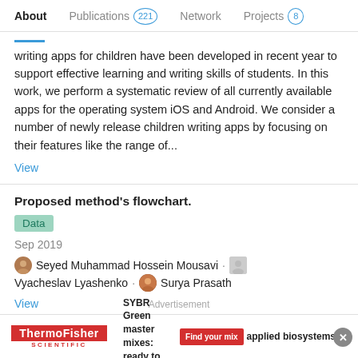About  Publications 221  Network  Projects 8
writing apps for children have been developed in recent year to support effective learning and writing skills of students. In this work, we perform a systematic review of all currently available apps for the operating system iOS and Android. We consider a number of newly release children writing apps by focusing on their features like the range of...
View
Proposed method's flowchart.
Data
Sep 2019
Seyed Muhammad Hossein Mousavi · Vyacheslav Lyashenko · Surya Prasath
View
Advertisement
[Figure (other): ThermoFisher Scientific advertisement banner: SYBR Green master mixes: ready to ship now, with Find your mix button and applied biosystems logo]